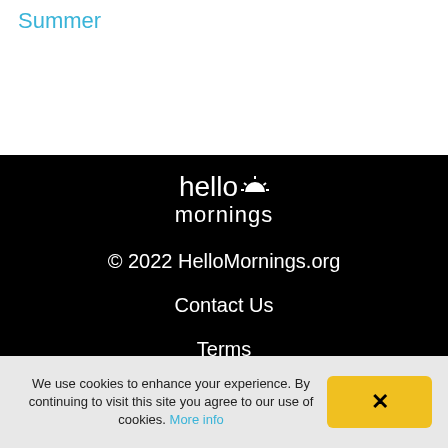Summer
hello mornings
© 2022 HelloMornings.org
Contact Us
Terms
Privacy
We use cookies to enhance your experience. By continuing to visit this site you agree to our use of cookies. More info